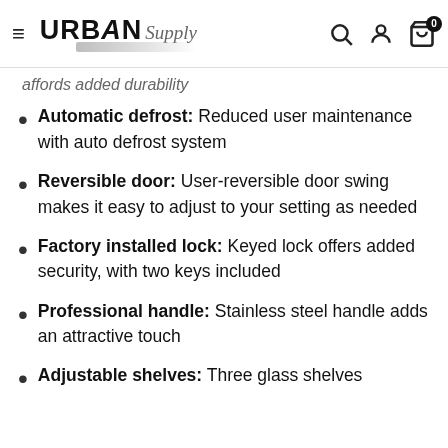URBAN Supply — navigation header with search, account, and cart icons
affords added durability
Automatic defrost: Reduced user maintenance with auto defrost system
Reversible door: User-reversible door swing makes it easy to adjust to your setting as needed
Factory installed lock: Keyed lock offers added security, with two keys included
Professional handle: Stainless steel handle adds an attractive touch
Adjustable shelves: Three glass shelves